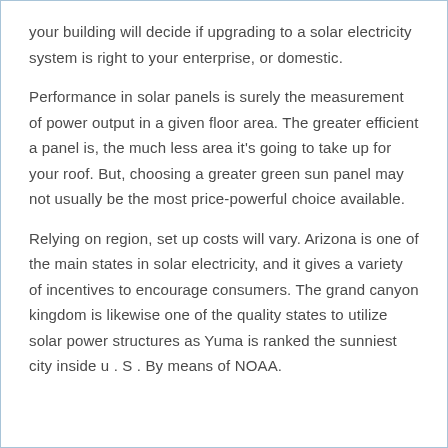your building will decide if upgrading to a solar electricity system is right to your enterprise, or domestic.
Performance in solar panels is surely the measurement of power output in a given floor area. The greater efficient a panel is, the much less area it's going to take up for your roof. But, choosing a greater green sun panel may not usually be the most price-powerful choice available.
Relying on region, set up costs will vary. Arizona is one of the main states in solar electricity, and it gives a variety of incentives to encourage consumers. The grand canyon kingdom is likewise one of the quality states to utilize solar power structures as Yuma is ranked the sunniest city inside u . S . By means of NOAA.